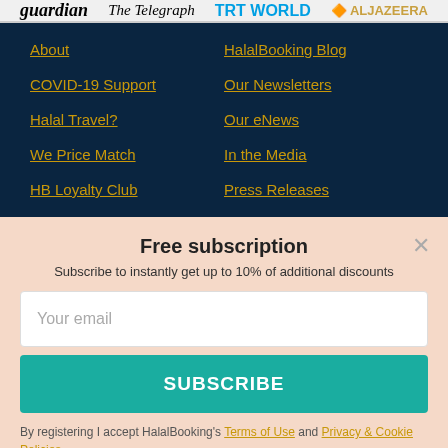[Figure (logo): Media logos: Guardian, The Telegraph, TRT World, Al Jazeera]
About
COVID-19 Support
Halal Travel?
We Price Match
HB Loyalty Club
HalalBooking Blog
Our Newsletters
Our eNews
In the Media
Press Releases
Free subscription
Subscribe to instantly get up to 10% of additional discounts
Your email
SUBSCRIBE
By registering I accept HalalBooking's Terms of Use and Privacy & Cookie Policies.